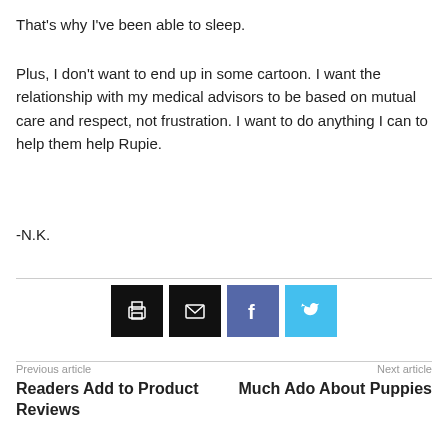That's why I've been able to sleep.
Plus, I don't want to end up in some cartoon. I want the relationship with my medical advisors to be based on mutual care and respect, not frustration. I want to do anything I can to help them help Rupie.
-N.K.
[Figure (infographic): Four social sharing buttons: print (black), email (black), Facebook (blue-purple), Twitter (light blue), each as a square icon button]
Previous article
Readers Add to Product Reviews
Next article
Much Ado About Puppies